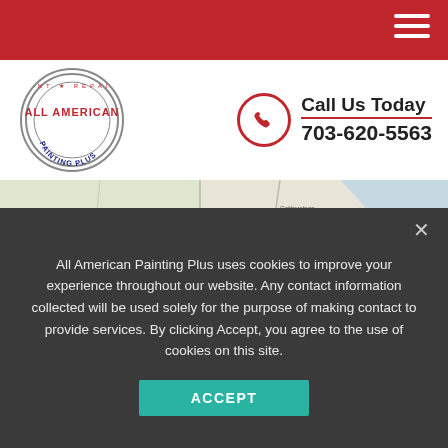Red navigation header bar with hamburger menu
[Figure (logo): All American Painting Plus circular logo with text around the border]
Call Us Today 703-620-5563
[Figure (map): Google Maps view of the Washington DC / Virginia / Maryland area with numerous blue location pin markers clustered around the DC metro area]
[Figure (photo): Gold/yellow textured background strip]
All American Painting Plus uses cookies to improve your experience throughout our website. Any contact information collected will be used solely for the purpose of making contact to provide services. By clicking Accept, you agree to the use of cookies on this site.
ACCEPT